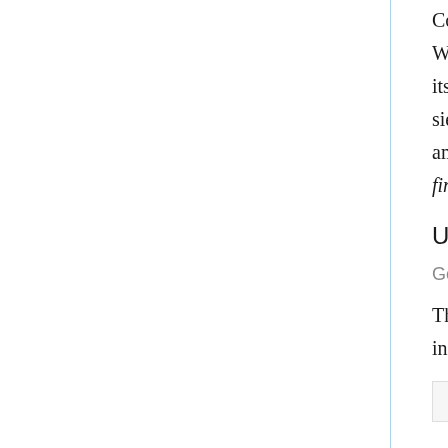Compared with the previous version, interpreted under both GHCi and WinHugs, it runs faster, takes less memory, and has better asymptotic behavior, its performance approximately the same as in the Merged Multiples Removal sieve. The advantage in working with spans explicitly is that this code is easily amendable to using arrays for the composites marking and removal on each finite span.
Using Arrays
Generating Primes Spans with Arrays
The removal of multiples on each segment of odds can be done with arrays, instead of lists with "minus" and "merge":
primes :: [Integer]